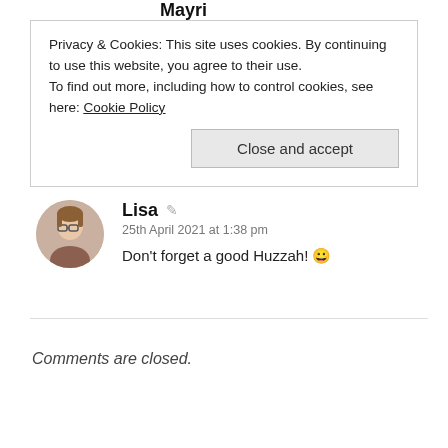Mayri
Privacy & Cookies: This site uses cookies. By continuing to use this website, you agree to their use.
To find out more, including how to control cookies, see here: Cookie Policy
Close and accept
Lisa
25th April 2021 at 1:38 pm
Don't forget a good Huzzah! 😀
Comments are closed.